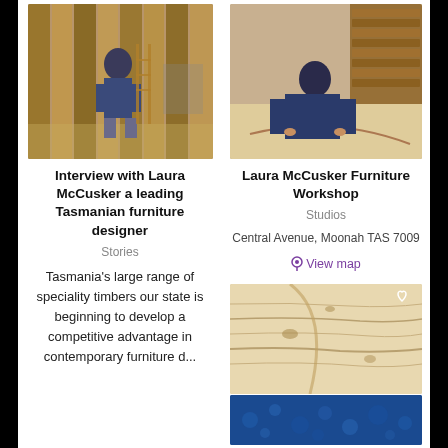[Figure (photo): Person working with wood panels against a wall in a workshop]
[Figure (photo): Person leaning over a workbench in a furniture workshop]
Interview with Laura McCusker a leading Tasmanian furniture designer
Laura McCusker Furniture Workshop
Stories
Studios
Central Avenue, Moonah TAS 7009
View map
Tasmania's large range of speciality timbers our state is beginning to develop a competitive advantage in contemporary furniture d...
[Figure (photo): Close-up of light wood grain panels]
[Figure (photo): Blue textured surface]